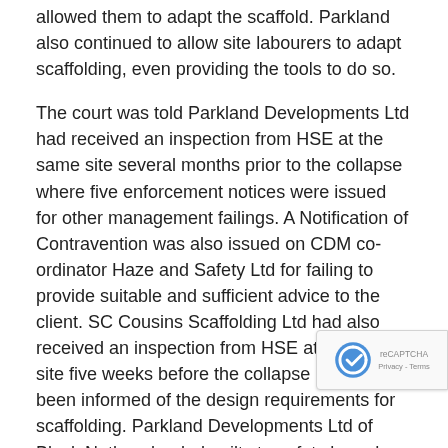allowed them to adapt the scaffold. Parkland also continued to allow site labourers to adapt scaffolding, even providing the tools to do so.
The court was told Parkland Developments Ltd had received an inspection from HSE at the same site several months prior to the collapse where five enforcement notices were issued for other management failings. A Notification of Contravention was also issued on CDM co-ordinator Haze and Safety Ltd for failing to provide suitable and sufficient advice to the client. SC Cousins Scaffolding Ltd had also received an inspection from HSE at a different site five weeks before the collapse and had been informed of the design requirements for scaffolding. Parkland Developments Ltd of Black Notley pleaded guilty to safety breaches and was fined £20,000 and ordered to pay costs of £2,893. S C Cousins Scaffolding Ltd of Billericay pleaded guilty to safety breaches and was fined a total of £15,000 and ordered to pay costs of £1,981. Haze and Safety Ltd of Braintree also pleaded guilty to safety breaches and was fined a total of £5,000 and ordered to pay costs of £1,981.
After the hearing, HSE inspector Adam Hills said: "This case was entirely preventable and it is only by chance that multiple fatalities did not occur. It beggars belief that following the